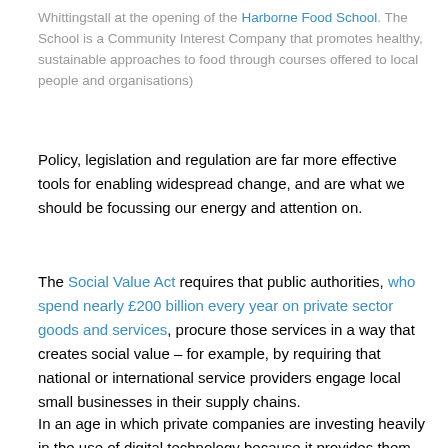Whittingstall at the opening of the Harborne Food School. The School is a Community Interest Company that promotes healthy, sustainable approaches to food through courses offered to local people and organisations)
Policy, legislation and regulation are far more effective tools for enabling widespread change, and are what we should be focussing our energy and attention on.
The Social Value Act requires that public authorities, who spend nearly £200 billion every year on private sector goods and services, procure those services in a way that creates social value – for example, by requiring that national or international service providers engage local small businesses in their supply chains.
In an age in which private companies are investing heavily in the use of digital technology because it provides them